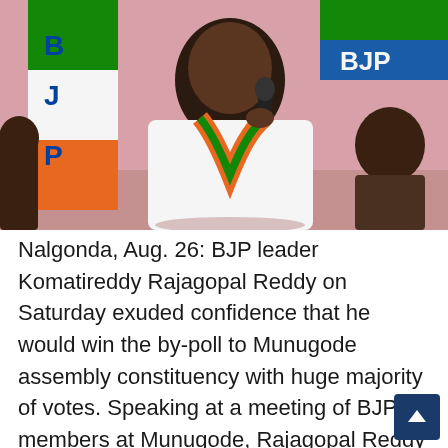[Figure (photo): BJP leader Komatireddy Rajagopal Reddy speaking at a microphone, wearing a white kurta with an orange and green BJP scarf/stole, standing in front of a BJP flag and a pink backdrop. Another person is seated to the right in the background.]
Nalgonda, Aug. 26: BJP leader Komatireddy Rajagopal Reddy on Saturday exuded confidence that he would win the by-poll to Munugode assembly constituency with huge majority of votes. Speaking at a meeting of BJP members at Munugode, Rajagopal Reddy said that he has contested from Munugode assembly constituency in 2018 elections by resigning to MLS...